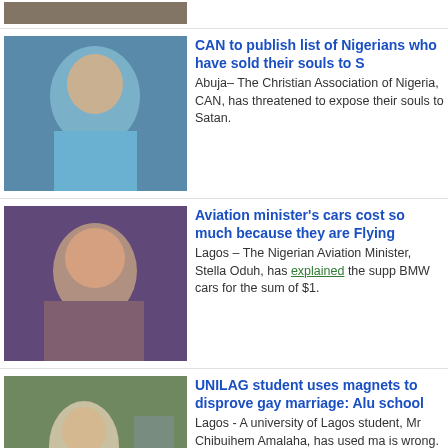[Figure (photo): Partial news thumbnail at top of page, partially cropped]
CAN to publish list of Nigerians who have sold their souls to S - Abuja– The Christian Association of Nigeria, CAN, has threatened to expose their souls to Satan.
Aviation minister's cars cost so much because they are Flying - Lagos – The Nigerian Aviation Minister, Stella Oduh, has explained the supp BMW cars for the sum of $1.
UNILAG student uses magnets to disprove gay marriage: Alu school - Lagos - A university of Lagos student, Mr Chibuihem Amalaha, has used ma is wrong.
Outrage as organizers of Miss Wolrds insist on contestants c - Abuja – The organizers of an international beauty pageant, Miss Worlds, have that contestants in the pageant compete in their own hair.
SEX SCANDAL: Spirits slept with girl says Pastor - Abuja – The Pastor in the middle of a sex scandal has finally spoken out.